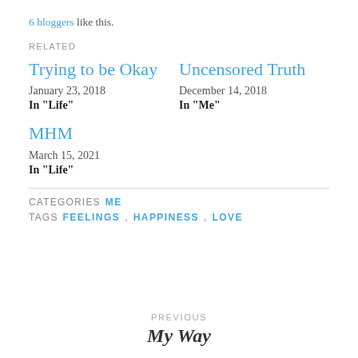6 bloggers like this.
RELATED
Trying to be Okay
January 23, 2018
In "Life"
Uncensored Truth
December 14, 2018
In "Me"
MHM
March 15, 2021
In "Life"
CATEGORIES  ME
TAGS  FEELINGS,  HAPPINESS,  LOVE
PREVIOUS
My Way